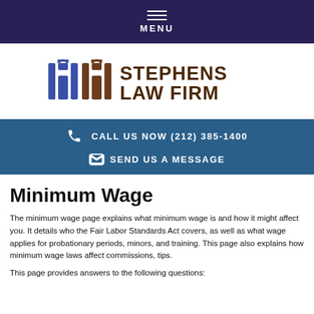MENU
[Figure (logo): Stephens Law Firm logo with stylized columns icon in blue and brown, and text STEPHENS LAW FIRM in brown]
CALL US NOW (212) 385-1400
SEND US A MESSAGE
Minimum Wage
The minimum wage page explains what minimum wage is and how it might affect you. It details who the Fair Labor Standards Act covers, as well as what wage applies for probationary periods, minors, and training. This page also explains how minimum wage laws affect commissions, tips.
This page provides answers to the following questions: